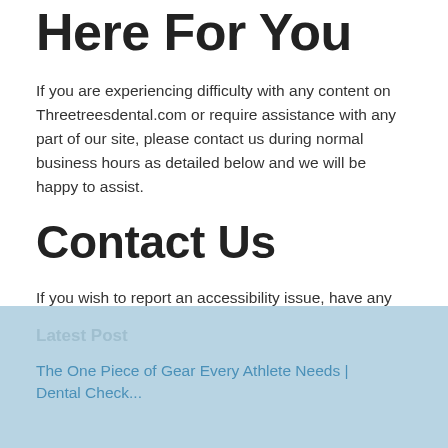Here For You
If you are experiencing difficulty with any content on Threetreesdental.com or require assistance with any part of our site, please contact us during normal business hours as detailed below and we will be happy to assist.
Contact Us
If you wish to report an accessibility issue, have any questions or need assistance, please contact Threetreesdental.com Customer Support.
Latest Post
The One Piece of Gear Every Athlete Needs | Dental Check...